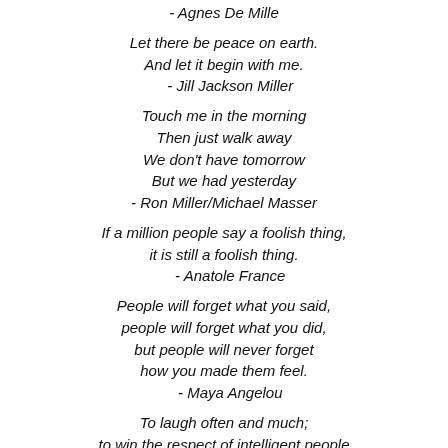- Agnes De Mille
Let there be peace on earth.
And let it begin with me.
- Jill Jackson Miller
Touch me in the morning
Then just walk away
We don't have tomorrow
But we had yesterday
- Ron Miller/Michael Masser
If a million people say a foolish thing,
it is still a foolish thing.
- Anatole France
People will forget what you said,
people will forget what you did,
but people will never forget
how you made them feel.
- Maya Angelou
To laugh often and much;
to win the respect of intelligent people
and the affection of children,
to leave the world a better place